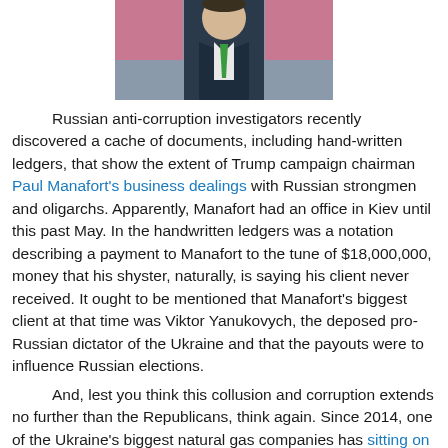[Figure (photo): Photo of a man in a dark suit with a green tie, cropped at top of page]
Russian anti-corruption investigators recently discovered a cache of documents, including hand-written ledgers, that show the extent of Trump campaign chairman Paul Manafort's business dealings with Russian strongmen and oligarchs. Apparently, Manafort had an office in Kiev until this past May. In the handwritten ledgers was a notation describing a payment to Manafort to the tune of $18,000,000, money that his shyster, naturally, is saying his client never received. It ought to be mentioned that Manafort's biggest client at that time was Viktor Yanukovych, the deposed pro-Russian dictator of the Ukraine and that the payouts were to influence Russian elections.

And, lest you think this collusion and corruption extends no further than the Republicans, think again. Since 2014, one of the Ukraine's biggest natural gas companies has sitting on its board no less than the Vice President's son, Hunter Biden, a company that has been accused of having tens of millions of dollars in illicit assets.